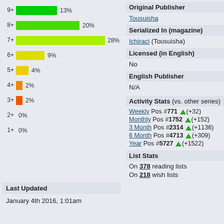[Figure (bar-chart): Rating distribution]
Last Updated
January 4th 2016, 1:01am
Original Publisher
Tousuisha
Serialized In (magazine)
Ichiraci (Tousuisha)
Licensed (in English)
No
English Publisher
N/A
Activity Stats (vs. other series)
Weekly Pos #771 ▲(+32)
Monthly Pos #1752 ▲(+152)
3 Month Pos #2314 ▲(+1136)
6 Month Pos #4713 ▲(+309)
Year Pos #5727 ▲(+1522)
List Stats
On 378 reading lists
On 218 wish lists